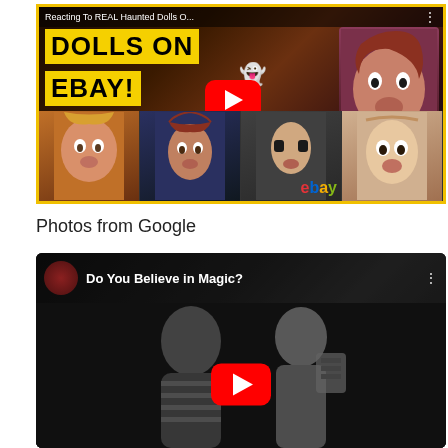[Figure (screenshot): YouTube video thumbnail showing 'Reacting To REAL Haunted Dolls O...' with text 'DOLLS ON EBAY!' on yellow background, collage of creepy dolls, ghost emoji, YouTube play button, eBay logo, and shocked woman]
Photos from Google
[Figure (screenshot): YouTube video embed showing 'Do You Believe in Magic?' with channel icon, menu dots, black and white footage of two people, and YouTube play button overlay]